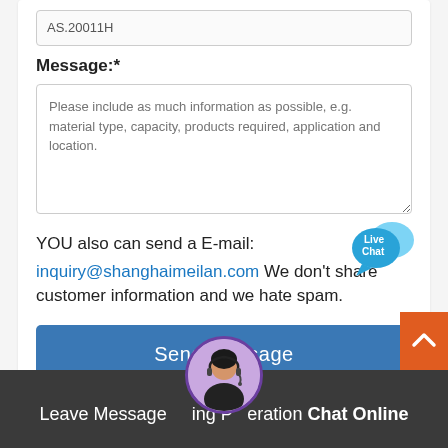AS.20011H
Message:*
Please include as much information as possible, e.g. material type, capacity, products required, application and location.
YOU also can send a E-mail:
[Figure (illustration): Live Chat speech bubble icon in blue]
inquiry@shanghaimeilan.com We don’t share customer information and we hate spam.
Send Message
[Figure (photo): Customer service agent avatar with headset, circular with purple border]
Leave Message    ing P   eration Chat Online